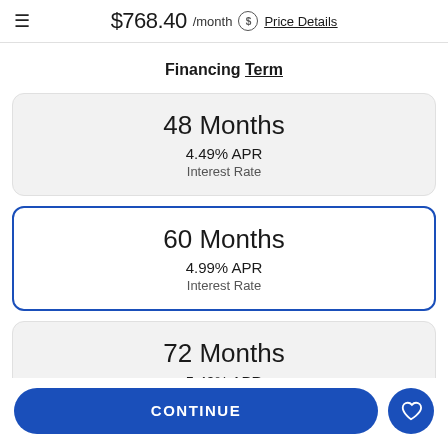≡  $768.40 /month ⓢ Price Details
Financing Term
48 Months
4.49% APR
Interest Rate
60 Months
4.99% APR
Interest Rate
72 Months
5.49% APR
Interest Rate
CONTINUE